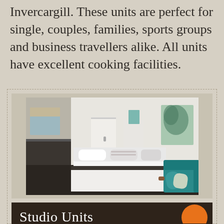Invercargill. These units are perfect for single, couples, families, sports groups and business travellers alike. All units have excellent cooking facilities.
[Figure (photo): Interior photo of a motel studio unit showing a bed with white linen, a teal/green sofa with patterned cushions, kitchenette area with dark countertop, white walls, and a window with a blind.]
Studio Units
4 x Studio units. Unit 1 has a